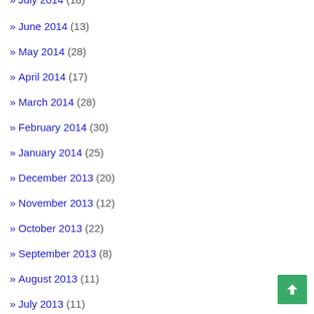» June 2014 (13)
» May 2014 (28)
» April 2014 (17)
» March 2014 (28)
» February 2014 (30)
» January 2014 (25)
» December 2013 (20)
» November 2013 (12)
» October 2013 (22)
» September 2013 (8)
» August 2013 (11)
» July 2013 (11)
» June 2013 (14)
» May 2013 (23)